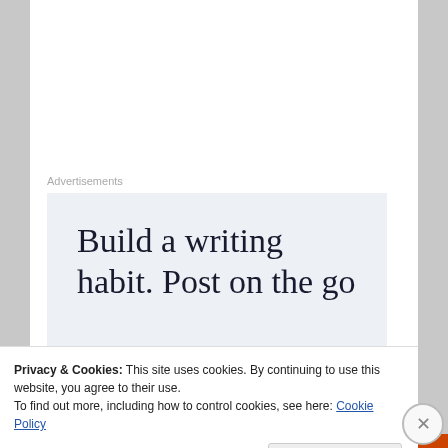Advertisements
[Figure (screenshot): Advertisement showing text 'Build a writing habit. Post on the go' on a light blue-grey background, with a photo of a laptop on a wooden desk below.]
Privacy & Cookies: This site uses cookies. By continuing to use this website, you agree to their use.
To find out more, including how to control cookies, see here: Cookie Policy
Close and accept